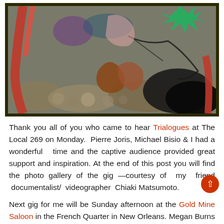[Figure (illustration): A colorful abstract painting or mixed-media artwork featuring bold reds, greens, browns, and blacks with organic shapes suggesting plant forms, rocks, and tangled elements, displayed in a dark olive/black frame.]
Thank you all of you who came to hear Trialogues at The Local 269 on Monday. Pierre Joris, Michael Bisio & I had a wonderful time and the captive audience provided great support and inspiration. At the end of this post you will find the photo gallery of the gig –courtesy of my friend documentalist/ videographer Chiaki Matsumoto.
Next gig for me will be Sunday afternoon at the Gold Mine Saloon in the French Quarter in New Orleans. Megan Burns & Dave Brinks are organizing a mega event to raise funds for "Protect Our Coastline..."